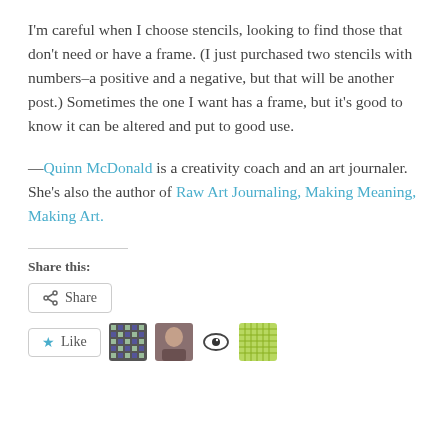I'm careful when I choose stencils, looking to find those that don't need or have a frame. (I just purchased two stencils with numbers–a positive and a negative, but that will be another post.) Sometimes the one I want has a frame, but it's good to know it can be altered and put to good use.
—Quinn McDonald is a creativity coach and an art journaler. She's also the author of Raw Art Journaling, Making Meaning, Making Art.
Share this:
[Figure (other): Share button with share icon]
[Figure (other): Like button with star icon, and four avatar/icon images]